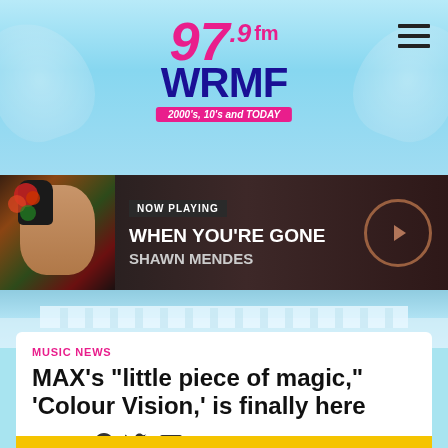[Figure (logo): 97.9 FM WRMF radio station logo with pink and dark blue text, tagline '2000's, 10's and TODAY' on pink banner]
[Figure (screenshot): Now Playing bar showing album art of Shawn Mendes with flowers on face, NOW PLAYING label, song WHEN YOU'RE GONE by SHAWN MENDES, and circular play button]
[Figure (photo): Background photo of a building/arena with light blue sky tint overlay]
MUSIC NEWS
MAX's "little piece of magic," 'Colour Vision,' is finally here
SHARE: